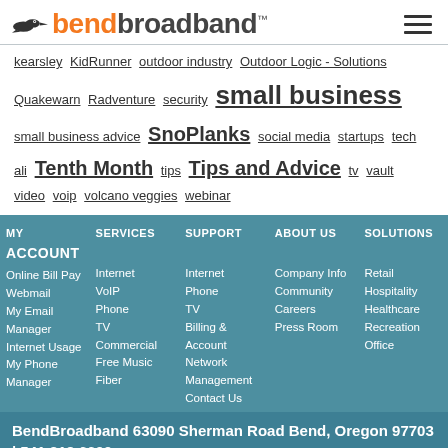[Figure (logo): BendBroadband logo with bird icon, orange 'bend' and dark 'broadband' text]
kearsley KidRunner outdoor industry Outdoor Logic - Solutions Quakewarn Radventure security small business small business advice SnoPlanks social media startups tech ali Tenth Month tips Tips and Advice tv vault video voip volcano veggies webinar
MY ACCOUNT | SERVICES | SUPPORT | ABOUT US | SOLUTIONS
Online Bill Pay | Internet | Internet | Company Info | Retail
Webmail | VoIP | Phone | Community | Hospitality
My Email Manager | Phone | TV | Careers | Healthcare
Internet Usage | TV | Billing & Account | Press Room | Recreation
My Phone Manager | Commercial | Network Management | | Office
| Free Music | Contact Us | |
| Fiber | | |
BendBroadband 63090 Sherman Road Bend, Oregon 97703 | 541.312.6600